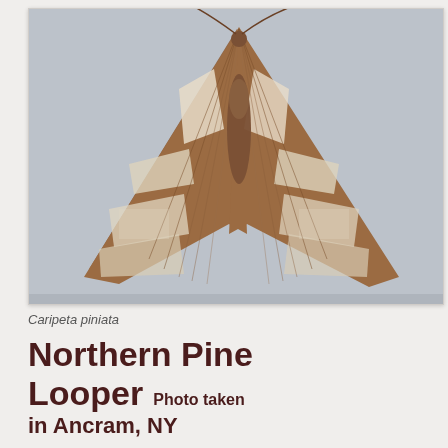[Figure (photo): Close-up photograph of a Northern Pine Looper moth (Caripeta piniata) resting on a light gray fabric surface. The moth displays brown and white/cream patterned wings in a triangular resting position, with visible wing striations and markings.]
Caripeta piniata
Northern Pine Looper  Photo taken in Ancram, NY
Hodges# 6864